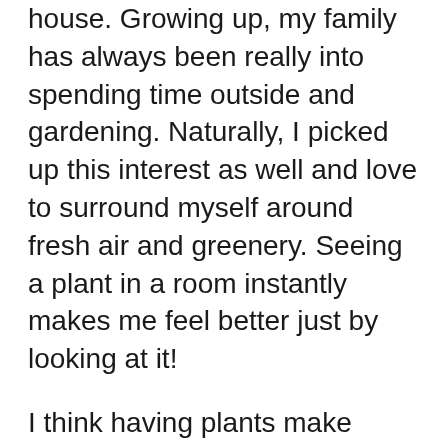house. Growing up, my family has always been really into spending time outside and gardening. Naturally, I picked up this interest as well and love to surround myself around fresh air and greenery. Seeing a plant in a room instantly makes me feel better just by looking at it!
I think having plants make homes feel cozier and more exciting because it feels like someone actually lives there instead of looking like a furniture catalog, which is very important to me. Every room in my house will have plants depending on how much light filters in through the windows. I already have a list of plants I plan to grow for every type of environment within a home. The most important room to me is my kitchen,